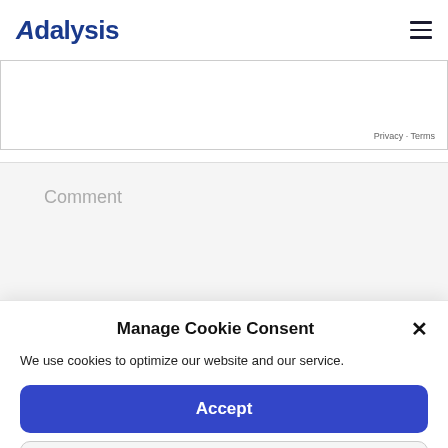Adalysis
[Figure (screenshot): Partial map or form input area with 'Privacy · Terms' text in bottom right]
Comment
Manage Cookie Consent
We use cookies to optimize our website and our service.
Accept
Preferences
Cookie Policy  Privacy Policy